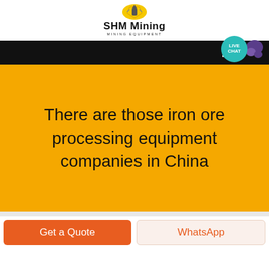[Figure (logo): SHM Mining logo with yellow gear/helmet icon, bold text 'SHM Mining' and subtitle 'MINING EQUIPMENT']
[Figure (screenshot): Black navigation bar with hamburger menu and teal 'LIVE CHAT' circle badge with purple chat icon]
There are those iron ore processing equipment companies in China
Get a Quote
WhatsApp